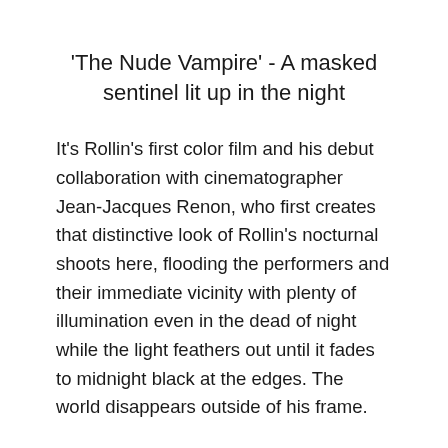'The Nude Vampire' - A masked sentinel lit up in the night
It's Rollin's first color film and his debut collaboration with cinematographer Jean-Jacques Renon, who first creates that distinctive look of Rollin's nocturnal shoots here, flooding the performers and their immediate vicinity with plenty of illumination even in the dead of night while the light feathers out until it fades to midnight black at the edges. The world disappears outside of his frame.
Rollin's love of twins and matched pairs is first hinted at here, as is his penchant for romantic heroes drawn to mysterious women and supernatural places. He dresses the entire affair up in formal evening clothes